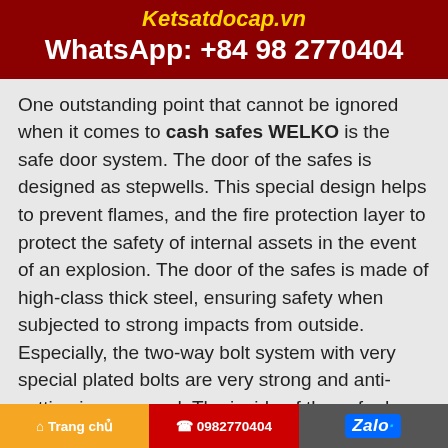Ketsatdocap.vn
WhatsApp: +84 98 2770404
One outstanding point that cannot be ignored when it comes to cash safes WELKO is the safe door system. The door of the safes is designed as stepwells. This special design helps to prevent flames, and the fire protection layer to protect the safety of internal assets in the event of an explosion. The door of the safes is made of high-class thick steel, ensuring safety when subjected to strong impacts from outside. Especially, the two-way bolt system with very special plated bolts are very strong and anti-cutting is very good. The inside of the safe door has 5 key hangers for convenient security of important keys.
Trang chủ | 0982770404 | Zalo